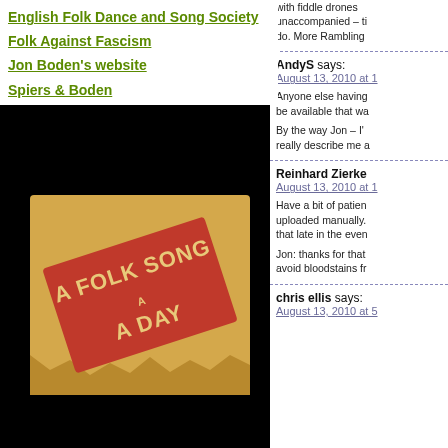English Folk Dance and Song Society
Folk Against Fascism
Jon Boden's website
Spiers & Boden
[Figure (illustration): A Folk Song A Day stamp logo on brown paper background]
with fiddle drones unaccompanied – tin do. More Rambling
AndyS says: August 13, 2010 at 1
Anyone else having be available that way By the way Jon – I' really describe me as
Reinhard Zierke August 13, 2010 at 1
Have a bit of patien uploaded manually. that late in the eveni Jon: thanks for that avoid bloodstains fro
chris ellis says: August 13, 2010 at 5